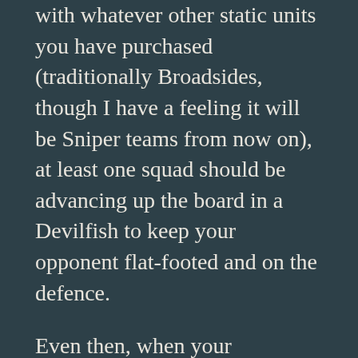with whatever other static units you have purchased (traditionally Broadsides, though I have a feeling it will be Sniper teams from now on), at least one squad should be advancing up the board in a Devilfish to keep your opponent flat-footed and on the defence.
Even then, when your opponent's assault units or objective takers move into your half of the table, don't be afraid to leap your squads forward and abuse that rapid fire range. This edition is a lot more about manoeuvring than prior editions and being timid won't win you games.
Still, don't over stretch your mark. Fire warriors are still toughness 3 with a 4+ save